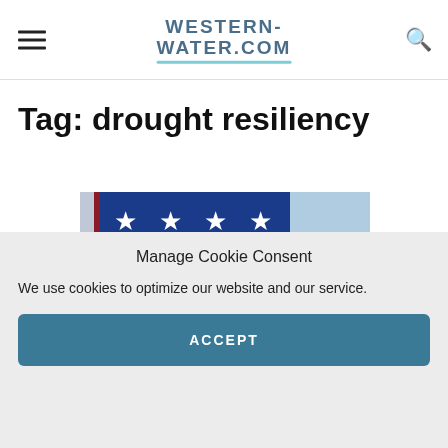WESTERN-WATER.COM
Tag: drought resiliency
[Figure (photo): Close-up of an American flag showing stars and stripes, with a blue sky in the background]
Manage Cookie Consent
We use cookies to optimize our website and our service.
ACCEPT